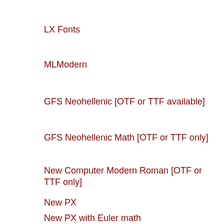LX Fonts
MLModern
GFS Neohellenic [OTF or TTF available]
GFS Neohellenic Math [OTF or TTF only]
New Computer Modern Roman [OTF or TTF only]
New PX
New PX with Euler math